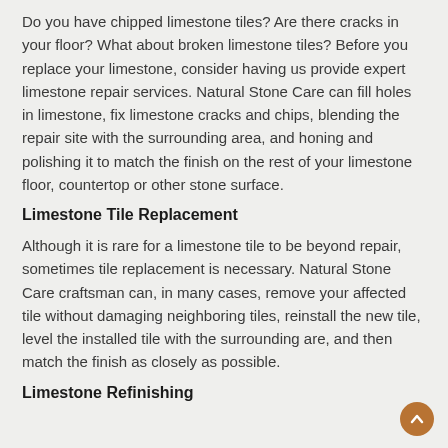Do you have chipped limestone tiles? Are there cracks in your floor? What about broken limestone tiles? Before you replace your limestone, consider having us provide expert limestone repair services. Natural Stone Care can fill holes in limestone, fix limestone cracks and chips, blending the repair site with the surrounding area, and honing and polishing it to match the finish on the rest of your limestone floor, countertop or other stone surface.
Limestone Tile Replacement
Although it is rare for a limestone tile to be beyond repair, sometimes tile replacement is necessary. Natural Stone Care craftsman can, in many cases, remove your affected tile without damaging neighboring tiles, reinstall the new tile, level the installed tile with the surrounding are, and then match the finish as closely as possible.
Limestone Refinishing